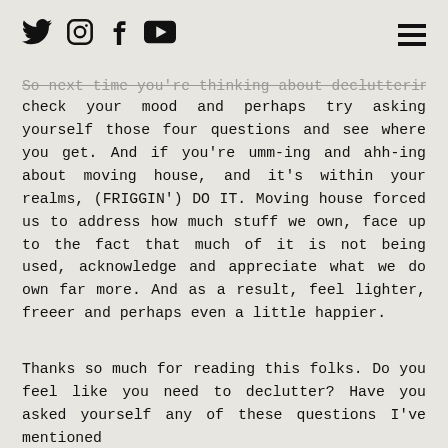[Social media icons: Twitter, Instagram, Facebook, YouTube] [Hamburger menu]
So next time you're thinking about decluttering, check your mood and perhaps try asking yourself those four questions and see where you get. And if you're umm-ing and ahh-ing about moving house, and it's within your realms, (FRIGGIN') DO IT. Moving house forced us to address how much stuff we own, face up to the fact that much of it is not being used, acknowledge and appreciate what we do own far more. And as a result, feel lighter, freeer and perhaps even a little happier.
Thanks so much for reading this folks. Do you feel like you need to declutter? Have you asked yourself any of these questions I've mentioned